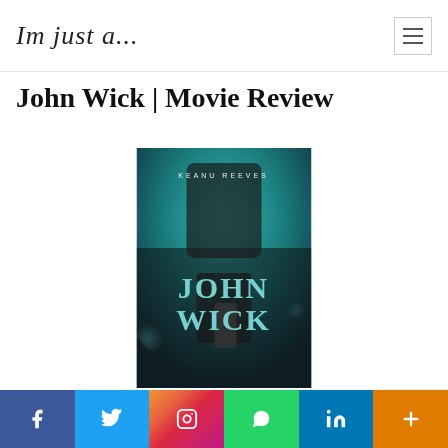Im just a...
John Wick | Movie Review
[Figure (photo): John Wick movie poster featuring Keanu Reeves holding a gun, with teal/dark color grading and 'JOHN WICK' text overlaid]
Social share bar: Facebook, Twitter, Instagram, WhatsApp, LinkedIn, More